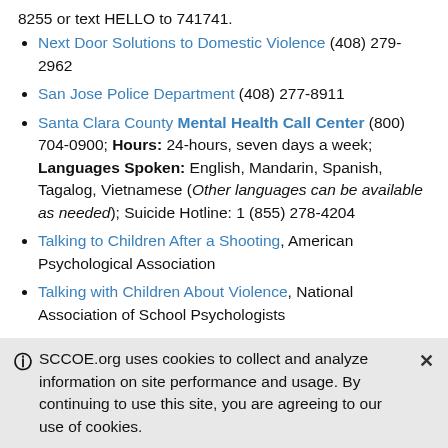8255 or text HELLO to 741741.
Next Door Solutions to Domestic Violence (408) 279-2962
San Jose Police Department (408) 277-8911
Santa Clara County Mental Health Call Center (800) 704-0900; Hours: 24-hours, seven days a week; Languages Spoken: English, Mandarin, Spanish, Tagalog, Vietnamese (Other languages can be available as needed); Suicide Hotline: 1 (855) 278-4204
Talking to Children After a Shooting, American Psychological Association
Talking with Children About Violence, National Association of School Psychologists
SCCOE.org uses cookies to collect and analyze information on site performance and usage. By continuing to use this site, you are agreeing to our use of cookies.